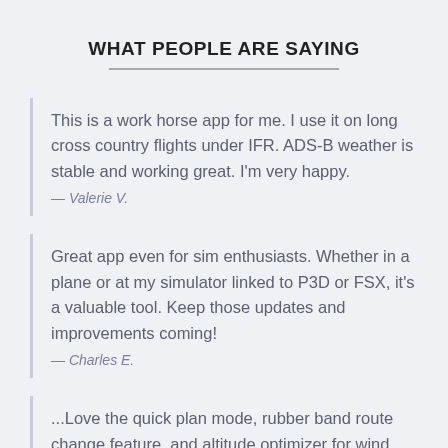WHAT PEOPLE ARE SAYING
This is a work horse app for me. I use it on long cross country flights under IFR. ADS-B weather is stable and working great. I'm very happy.
— Valerie V.
Great app even for sim enthusiasts. Whether in a plane or at my simulator linked to P3D or FSX, it's a valuable tool. Keep those updates and improvements coming!
— Charles E.
...Love the quick plan mode, rubber band route change feature, and altitude optimizer for wind aloft. This app works great on my Samsung tablet!